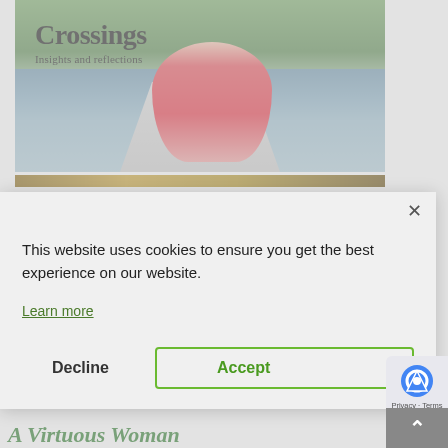[Figure (photo): Crossings blog header image showing a woman in a red shirt rowing a canoe on a lake, with trees and hills in the background. Text overlay reads 'Crossings' and 'Insights and reflections'.]
This website uses cookies to ensure you get the best experience on our website.
Learn more
Decline
Accept
A Virtuous Woman